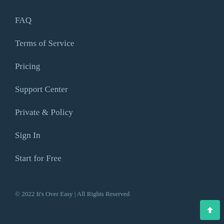FAQ
Terms of Service
Pricing
Support Center
Private & Policy
Sign In
Start for Free
© 2022 It's Over Easy | All Rights Reserved